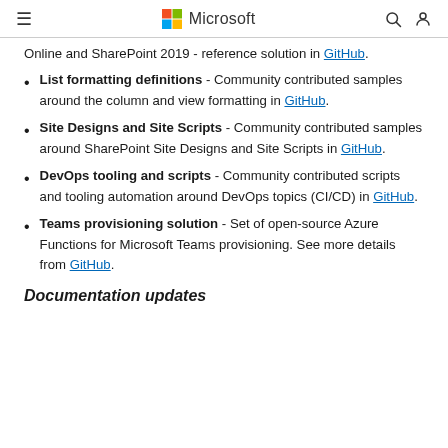Microsoft
Online and SharePoint 2019 - reference solution in GitHub.
List formatting definitions - Community contributed samples around the column and view formatting in GitHub.
Site Designs and Site Scripts - Community contributed samples around SharePoint Site Designs and Site Scripts in GitHub.
DevOps tooling and scripts - Community contributed scripts and tooling automation around DevOps topics (CI/CD) in GitHub.
Teams provisioning solution - Set of open-source Azure Functions for Microsoft Teams provisioning. See more details from GitHub.
Documentation updates